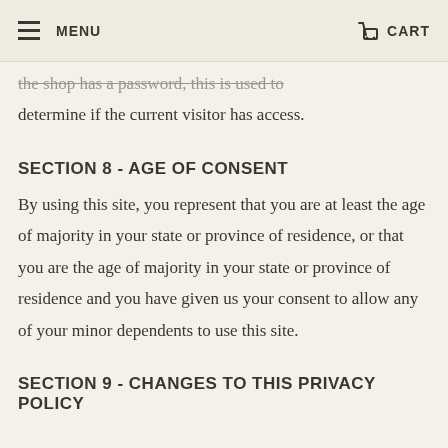MENU | CART
the shop has a password, this is used to determine if the current visitor has access.
SECTION 8 - AGE OF CONSENT
By using this site, you represent that you are at least the age of majority in your state or province of residence, or that you are the age of majority in your state or province of residence and you have given us your consent to allow any of your minor dependents to use this site.
SECTION 9 - CHANGES TO THIS PRIVACY POLICY